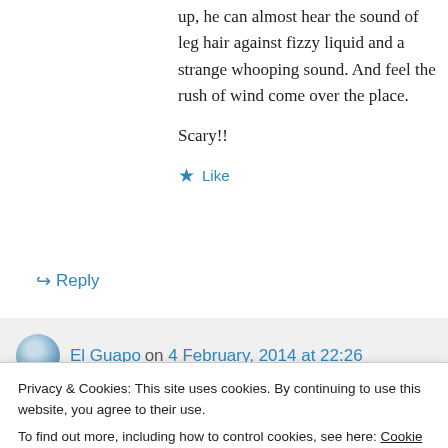up, he can almost hear the sound of leg hair against fizzy liquid and a strange whooping sound. And feel the rush of wind come over the place.
Scary!!
★ Like
↪ Reply
El Guapo on 4 February, 2014 at 22:26
Privacy & Cookies: This site uses cookies. By continuing to use this website, you agree to their use.
To find out more, including how to control cookies, see here: Cookie Policy
Close and accept
★ Like